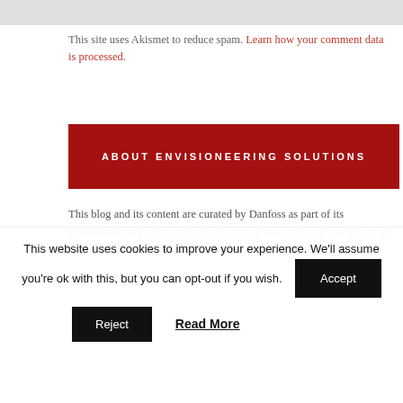This site uses Akismet to reduce spam. Learn how your comment data is processed.
ABOUT ENVISIONEERING SOLUTIONS
This blog and its content are curated by Danfoss as part of its EnVisioneering program, which, for more than 15 years, has sought to provide a unique platform for industry stakeholders to
This website uses cookies to improve your experience. We'll assume you're ok with this, but you can opt-out if you wish. Accept
Reject
Read More